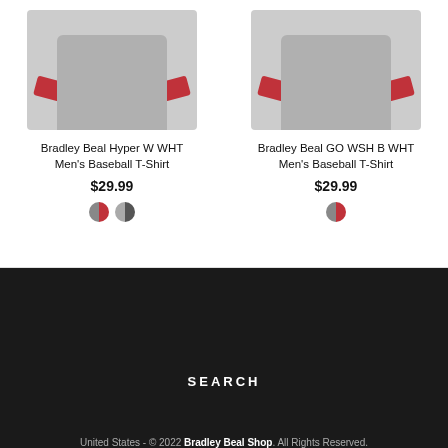[Figure (photo): Bradley Beal Hyper W WHT Men's Baseball T-Shirt product photo - gray shirt with red sleeves]
Bradley Beal Hyper W WHT Men's Baseball T-Shirt
$29.99
[Figure (photo): Bradley Beal GO WSH B WHT Men's Baseball T-Shirt product photo - gray shirt with red sleeves]
Bradley Beal GO WSH B WHT Men's Baseball T-Shirt
$29.99
SEARCH
United States - © 2022 Bradley Beal Shop. All Rights Reserved.